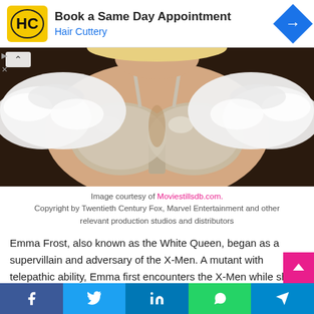[Figure (screenshot): Hair Cuttery advertisement banner: 'Book a Same Day Appointment' with logo and blue arrow icon]
[Figure (photo): Close-up photo of a woman in a white sparkly bra top with white feather boa/wrap, presumably Emma Frost from X-Men]
Image courtesy of Moviestillsdb.com. Copyright by Twentieth Century Fox, Marvel Entertainment and other relevant production studios and distributors
Emma Frost, also known as the White Queen, began as a supervillain and adversary of the X-Men. A mutant with telepathic ability, Emma first encounters the X-Men while she is the 'White Queen' of the dangerous Hellfire Club.
8. Mystique (DC)
[Figure (screenshot): Social media share bar with Facebook, Twitter, LinkedIn, WhatsApp, and Telegram buttons]